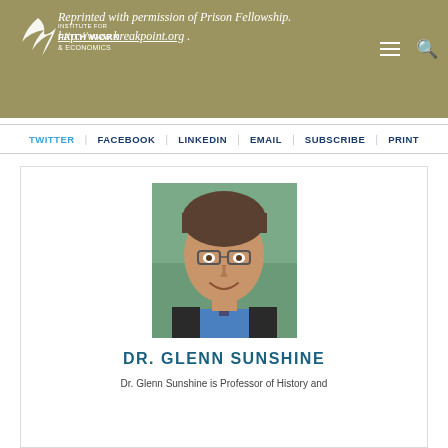Reprinted with permission of Prison Fellowship. http://www.breakpoint.org .
TWITTER   FACEBOOK   LINKEDIN   EMAIL   SUBSCRIBE   PRINT
[Figure (photo): Headshot photo of Dr. Glenn Sunshine, a middle-aged man with glasses, dark hair, wearing a blue shirt and dark blazer, smiling, with a blurred outdoor background.]
DR. GLENN SUNSHINE
Dr. Glenn Sunshine is Professor of History and